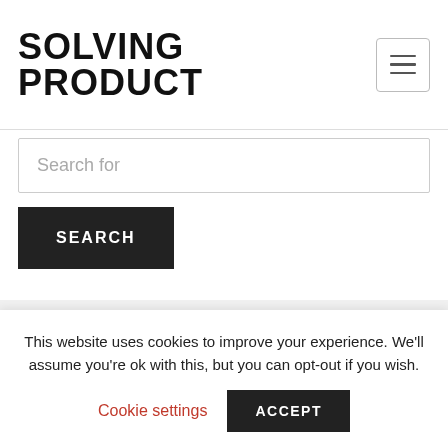SOLVING PRODUCT
[Figure (other): Hamburger menu icon button with three horizontal lines inside a rounded rectangle border]
Search for
SEARCH
[Figure (other): Row of four social media icons in circular borders: LinkedIn, Twitter, Instagram, YouTube]
This website uses cookies to improve your experience. We'll assume you're ok with this, but you can opt-out if you wish.
Cookie settings
ACCEPT